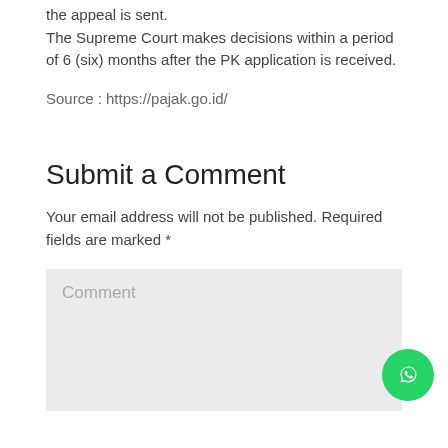the appeal is sent.
The Supreme Court makes decisions within a period of 6 (six) months after the PK application is received.
Source : https://pajak.go.id/
Submit a Comment
Your email address will not be published. Required fields are marked *